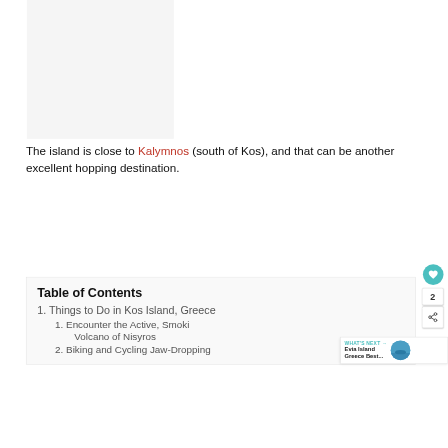[Figure (photo): Placeholder image area (light gray background) at top of page]
The island is close to Kalymnos (south of Kos), and that can be another excellent hopping destination.
Table of Contents
1. Things to Do in Kos Island, Greece
1. Encounter the Active, Smoking Volcano of Nisyros
2. Biking and Cycling Jaw-Dropping